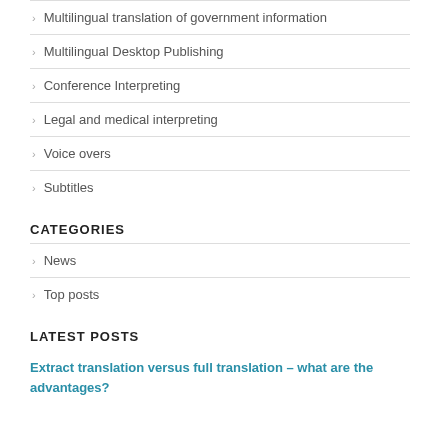Multilingual translation of government information
Multilingual Desktop Publishing
Conference Interpreting
Legal and medical interpreting
Voice overs
Subtitles
CATEGORIES
News
Top posts
LATEST POSTS
Extract translation versus full translation – what are the advantages?